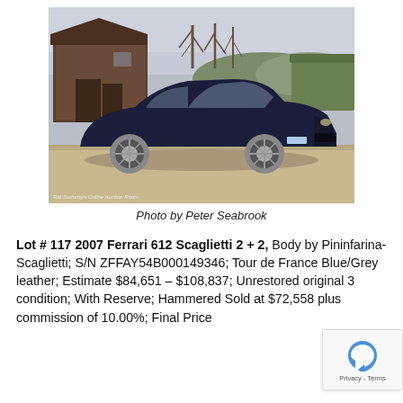[Figure (photo): A dark blue Ferrari 612 Scaglietti parked on a gravel driveway in front of a wooden barn/shed, with bare trees and a hedge in the background. Photo credit watermark at bottom left. Caption: Photo by Peter Seabrook.]
Photo by Peter Seabrook
Lot # 117 2007 Ferrari 612 Scaglietti 2 + 2, Body by Pininfarina-Scaglietti; S/N ZFFAY54B000149346; Tour de France Blue/Grey leather; Estimate $84,651 – $108,837; Unrestored original 3 condition; With Reserve; Hammered Sold at $72,558 plus commission of 10.00%; Final Price